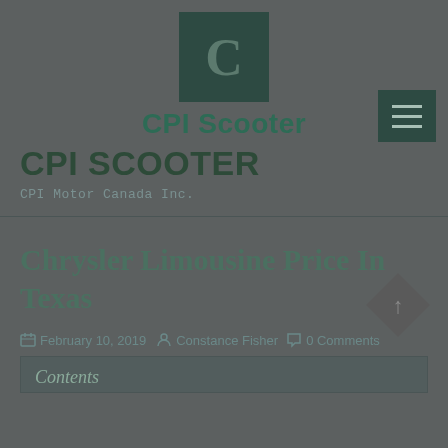[Figure (logo): CPI Scooter logo — dark green square with a large letter C]
CPI Scooter
[Figure (other): Hamburger menu button — dark green square with three horizontal lines]
CPI SCOOTER
CPI Motor Canada Inc.
Chrysler Limousine Price In Texas
February 10, 2019   Constance Fisher   0 Comments
Contents